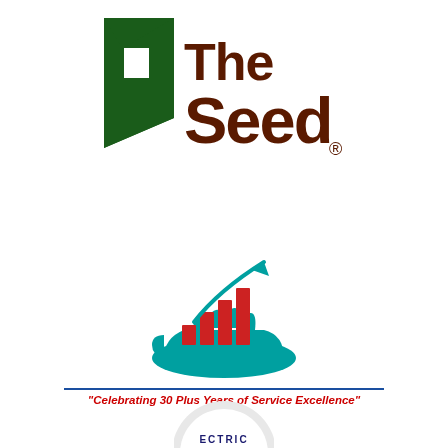[Figure (logo): The Seed logo — green angular shape on left, dark brown bold text 'The Seed' with registered trademark symbol]
[Figure (logo): Fuel Manager Services Inc logo — teal hand holding red bar chart with rising arrow, company name in teal, horizontal blue line, red italic tagline 'Celebrating 30 Plus Years of Service Excellence']
[Figure (logo): Partially visible circular logo at bottom center with text 'ECTRIC' visible — appears to be an electrical company logo]